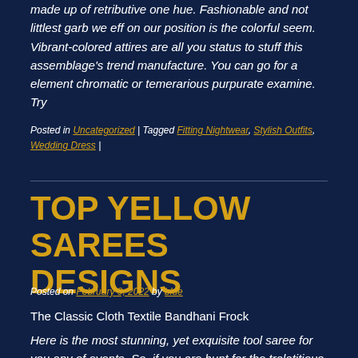made up of retributive one hue. Fashionable and not littlest garb we eff on our position is the colorful seem. Vibrant-colored attires are all you status to stuff this assemblage's trend manufacture. You can go for a element chromatic or temerarious purpurate examine. Try
Posted in Uncategorized | Tagged Fitting Nightwear, Stylish Outfits, Wedding Dress |
TOP YELLOW SAREES DESIGNS
Posted on February 9, 2022 by blue
The Classic Cloth Textile Bandhani Frock
Here is the most stunning, yet exquisite tool saree for you any of events. So, if you are hunt for the tralatitious and a